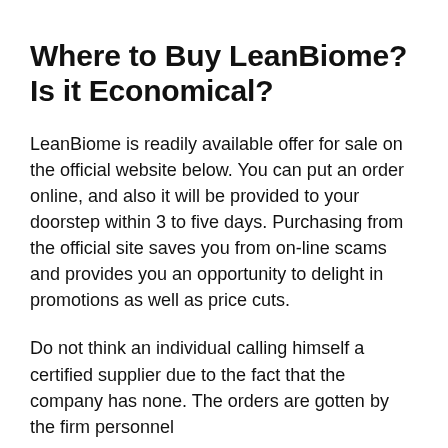Where to Buy LeanBiome? Is it Economical?
LeanBiome is readily available offer for sale on the official website below. You can put an order online, and also it will be provided to your doorstep within 3 to five days. Purchasing from the official site saves you from on-line scams and provides you an opportunity to delight in promotions as well as price cuts.
Do not think an individual calling himself a certified supplier due to the fact that the company has none. The orders are gotten by the firm personnel